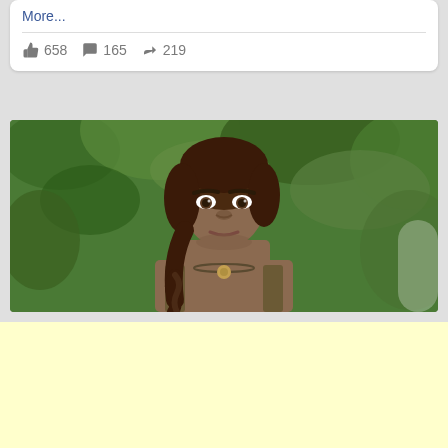More...
658  165  219
[Figure (photo): Woman with braided hair standing in front of green jungle foliage, wearing a necklace and vest top]
[Figure (other): Yellow advertisement banner]